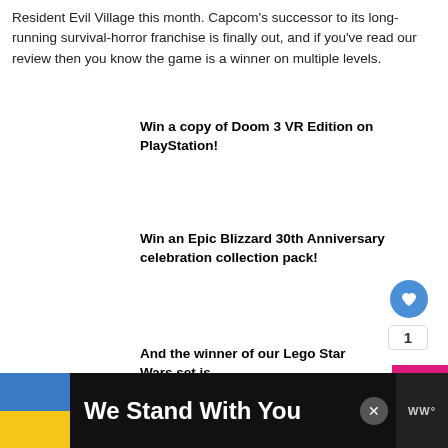Resident Evil Village this month. Capcom's successor to its long-running survival-horror franchise is finally out, and if you've read our review then you know the game is a winner on multiple levels.
Win a copy of Doom 3 VR Edition on PlayStation!
Win an Epic Blizzard 30th Anniversary celebration collection pack!
And the winner of our Lego Star Wars set is
WHAT'S NEXT → Chris Miller gives a statu...
FEATURES
We Stand With You